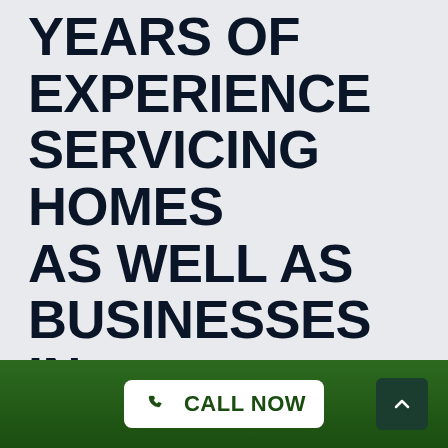WE HAVE PLENTY OF YEARS OF EXPERIENCE SERVICING HOMES AS WELL AS BUSINESSES IN CLEVELAND
The Top-quality Plumbing Service in Cleveland
As a top plumbing service provider, we always take
CALL NOW